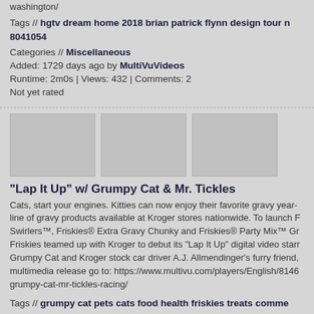washington/
Tags // hgtv dream home 2018 brian patrick flynn design tour n 8041054
Categories // Miscellaneous
Added: 1729 days ago by MultiVuVideos
Runtime: 2m0s | Views: 432 | Comments: 2
Not yet rated
[Figure (photo): Three video thumbnail placeholders side by side]
"Lap It Up" w/ Grumpy Cat & Mr. Tickles
Cats, start your engines. Kitties can now enjoy their favorite gravy year- line of gravy products available at Kroger stores nationwide. To launch F Swirlers™, Friskies® Extra Gravy Chunky and Friskies® Party Mix™ Gr Friskies teamed up with Kroger to debut its “Lap It Up” digital video starr Grumpy Cat and Kroger stock car driver A.J. Allmendinger’s furry friend, multimedia release go to: https://www.multivu.com/players/English/8146 grumpy-cat-mr-tickles-racing/
Tags // grumpy cat pets cats food health friskies treats comme 8146151
Categories // Miscellaneous
Added: 1850 days ago by MultiVuVideos
Runtime: 1m7s | Views: 513 | Comments: 1